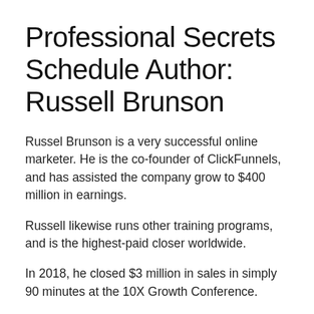Professional Secrets Schedule Author: Russell Brunson
Russel Brunson is a very successful online marketer. He is the co-founder of ClickFunnels, and has assisted the company grow to $400 million in earnings.
Russell likewise runs other training programs, and is the highest-paid closer worldwide.
In 2018, he closed $3 million in sales in simply 90 minutes at the 10X Growth Conference.